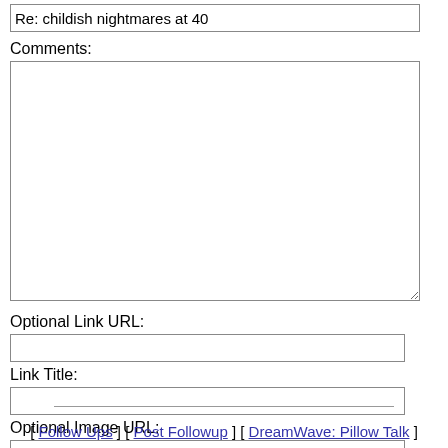Re: childish nightmares at 40
Comments:
Optional Link URL:
Link Title:
Optional Image URL:
Submit Follow Up   Reset
[ Follow Ups ] [ Post Followup ] [ DreamWave: Pillow Talk ]